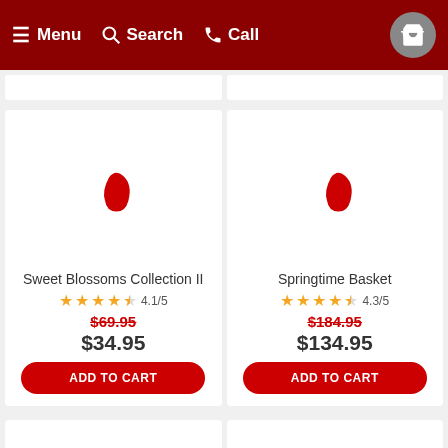Menu  Search  Call
[Figure (other): Product image placeholder - curved red shape for Sweet Blossoms Collection II]
Sweet Blossoms Collection II
4.1/5
$69.95 (strikethrough)  $34.95
ADD TO CART
[Figure (other): Product image placeholder - curved red shape for Springtime Basket]
Springtime Basket
4.3/5
$184.95 (strikethrough)  $134.95
ADD TO CART